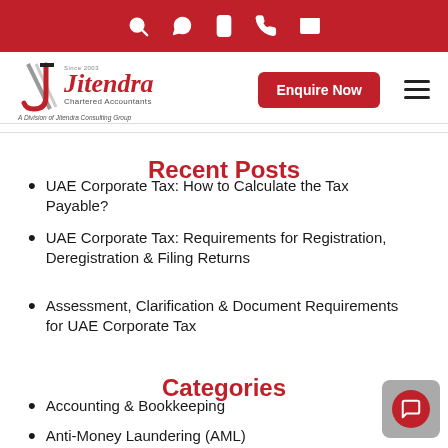Navigation icons: search, whatsapp, phone, call, email
[Figure (logo): Jitendra Chartered Accountants logo with 'Enquire Now' button and hamburger menu]
Recent Posts
UAE Corporate Tax: How to Calculate the Tax Payable?
UAE Corporate Tax: Requirements for Registration, Deregistration & Filing Returns
Assessment, Clarification & Document Requirements for UAE Corporate Tax
Categories
Accounting & Bookkeeping
Anti-Money Laundering (AML)